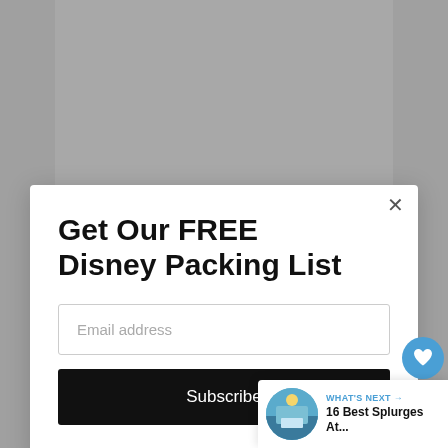[Figure (screenshot): Screenshot of a website popup modal over a page showing a Disney statue. The modal contains a title 'Get Our FREE Disney Packing List', an email address input field, and a Subscribe button. Side UI elements include a heart/save button with count 874, a share button, and a 'What's Next' recommendation widget showing '16 Best Splurges At...']
Get Our FREE Disney Packing List
Email address
Subscribe
874
WHAT'S NEXT →
16 Best Splurges At...